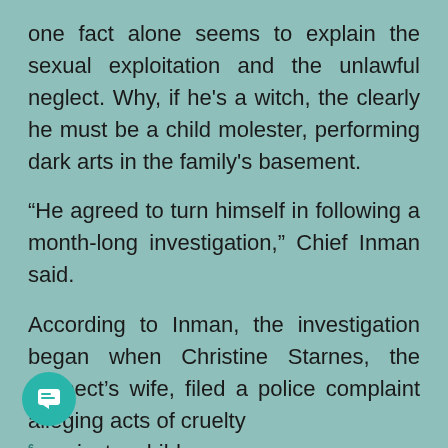one fact alone seems to explain the sexual exploitation and the unlawful neglect. Why, if he's a witch, the clearly he must be a child molester, performing dark arts in the family's basement.
“He agreed to turn himself in following a month-long investigation,” Chief Inman said.
According to Inman, the investigation began when Christine Starnes, the suspect’s wife, filed a police complaint alleging acts of cruelty against a child.
According to the police report, “the